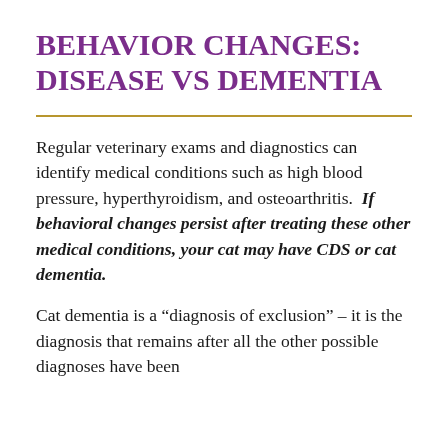BEHAVIOR CHANGES: DISEASE VS DEMENTIA
Regular veterinary exams and diagnostics can identify medical conditions such as high blood pressure, hyperthyroidism, and osteoarthritis.  If behavioral changes persist after treating these other medical conditions, your cat may have CDS or cat dementia.
Cat dementia is a “diagnosis of exclusion” – it is the diagnosis that remains after all the other possible diagnoses have been